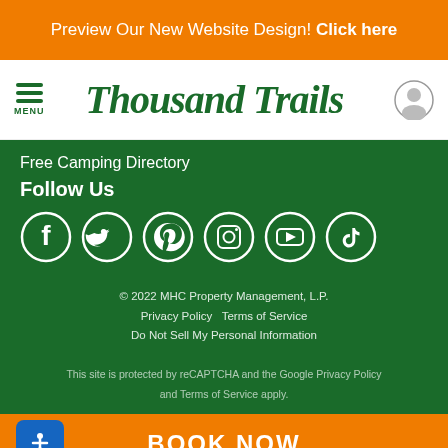Preview Our New Website Design! Click here
[Figure (logo): Thousand Trails logo with hamburger menu icon and user profile icon]
Free Camping Directory
Follow Us
[Figure (infographic): Social media icons: Facebook, Twitter, Pinterest, Instagram, YouTube, TikTok — white circle outlines on green background]
© 2022 MHC Property Management, L.P.
Privacy Policy  Terms of Service
Do Not Sell My Personal Information

This site is protected by reCAPTCHA and the Google Privacy Policy and Terms of Service apply.
BOOK NOW